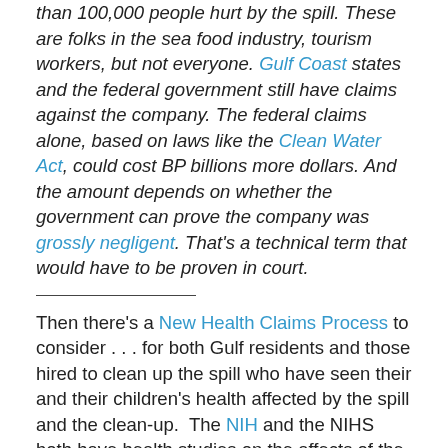than 100,000 people hurt by the spill. These are folks in the sea food industry, tourism workers, but not everyone. Gulf Coast states and the federal government still have claims against the company. The federal claims alone, based on laws like the Clean Water Act, could cost BP billions more dollars. And the amount depends on whether the government can prove the company was grossly negligent. That's a technical term that would have to be proven in court.
Then there's a New Health Claims Process to consider . . . for both Gulf residents and those hired to clean up the spill who have seen their and their children's health affected by the spill and the clean-up.  The NIH and the NIHS both have health studies on the affects of the spill, and it's looking like those issues will be fought out in court for